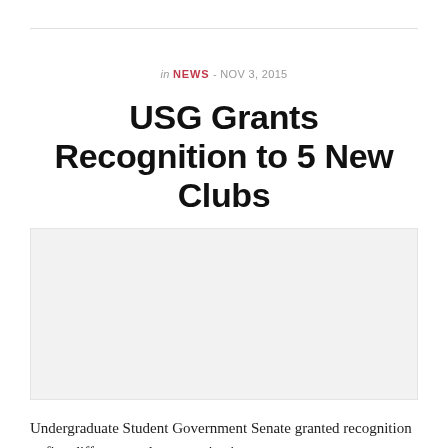in NEWS - NOV 3, 2015
USG Grants Recognition to 5 New Clubs
[Figure (photo): Placeholder image area for article photo]
Undergraduate Student Government Senate granted recognition to five different student organizations